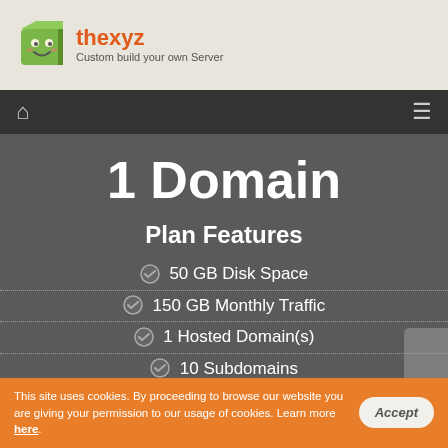thexyz — Custom build your own Server
1 Domain
Plan Features
50 GB Disk Space
150 GB Monthly Traffic
1 Hosted Domain(s)
10 Subdomains
Unlimited Parked Domains
This site uses cookies. By proceeding to browse our website you are giving your permission to our usage of cookies. Learn more here.